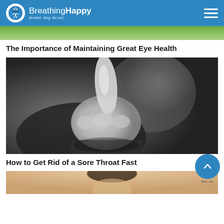Breathing Happy — Breathe. Blog. Be well.
[Figure (photo): Partial top of an outdoor nature/eye health article image showing green foliage]
The Importance of Maintaining Great Eye Health
[Figure (photo): Black and white close-up photo of a person's fist/hand raised near their face with blurred face in background, illustrating sore throat article]
How to Get Rid of a Sore Throat Fast
[Figure (photo): Partial bottom image for a third article, showing a person]